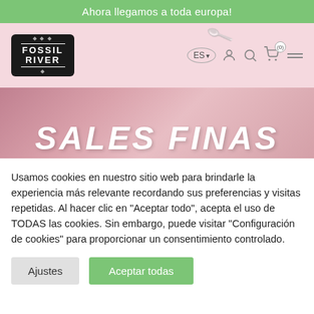Ahora llegamos a toda europa!
[Figure (screenshot): Fossil River brand logo in black rounded rectangle, navigation bar with language selector (ES), user icon, search icon, cart (0), hamburger menu, pink background with spoon]
[Figure (photo): Pink/rose banner with large white italic bold text reading SALES FINAS]
Usamos cookies en nuestro sitio web para brindarle la experiencia más relevante recordando sus preferencias y visitas repetidas. Al hacer clic en "Aceptar todo", acepta el uso de TODAS las cookies. Sin embargo, puede visitar "Configuración de cookies" para proporcionar un consentimiento controlado.
Ajustes
Aceptar todas